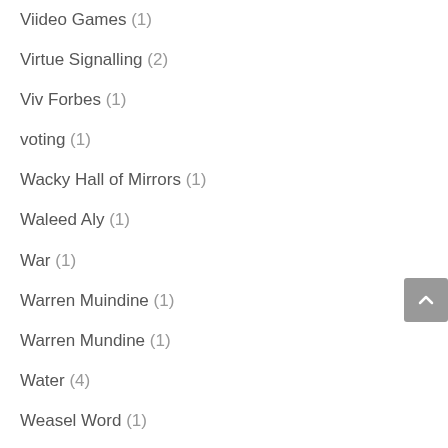Viideo Games (1)
Virtue Signalling (2)
Viv Forbes (1)
voting (1)
Wacky Hall of Mirrors (1)
Waleed Aly (1)
War (1)
Warren Muindine (1)
Warren Mundine (1)
Water (4)
Weasel Word (1)
Welfare (1)